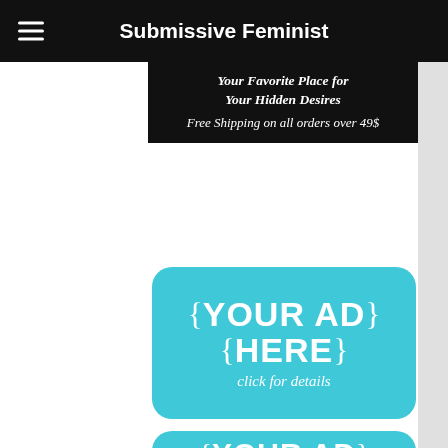Submissive Feminist
[Figure (infographic): Black banner ad with text: 'Your Favorite Place for Your Hidden Desires' and 'Free Shipping on all orders over 49$']
[Figure (infographic): Teal rounded rectangle ad placeholder with text '{YOUR AD HERE}' and 'click for details']
[Figure (infographic): Teal rounded rectangle ad placeholder partially visible with text '{YOUR AD']